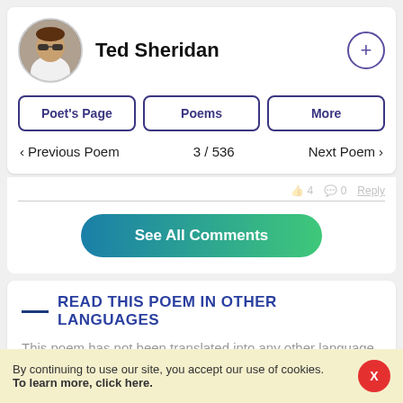Ted Sheridan
Poet's Page | Poems | More
< Previous Poem   3 / 536   Next Poem >
See All Comments
READ THIS POEM IN OTHER LANGUAGES
This poem has not been translated into any other language yet.
By continuing to use our site, you accept our use of cookies. To learn more, click here.